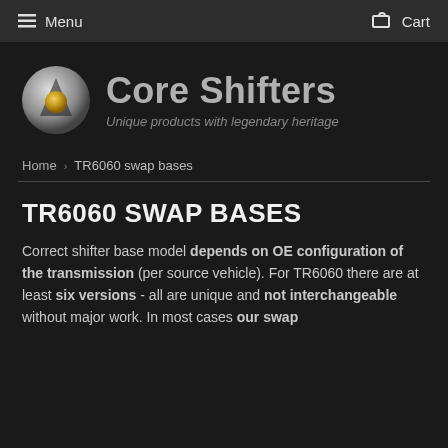Menu   Cart
[Figure (logo): Core Shifters logo: a silver and gold sphere with angular shape, alongside the text 'Core Shifters' and tagline 'Unique products with legendary heritage']
Home › TR6060 swap bases
TR6060 SWAP BASES
Correct shifter base model depends on OE configuration of the transmission (per source vehicle). For TR6060 there are at least six versions - all are unique and not interchangeable without major work. In most cases our swap